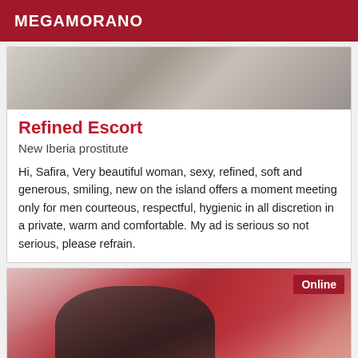MEGAMORANO
[Figure (photo): Top portion of a photo showing a tiled bathroom or similar interior space, partially cropped]
Refined Escort
New Iberia prostitute
Hi, Safira, Very beautiful woman, sexy, refined, soft and generous, smiling, new on the island offers a moment meeting only for men courteous, respectful, hygienic in all discretion in a private, warm and comfortable. My ad is serious so not serious, please refrain.
[Figure (photo): Photo of a woman lying on a red surface, wearing dark clothing, with an 'Online' badge in the top-right corner]